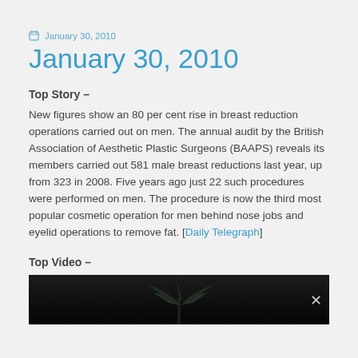January 30, 2010
January 30, 2010
Top Story –
New figures show an 80 per cent rise in breast reduction operations carried out on men. The annual audit by the British Association of Aesthetic Plastic Surgeons (BAAPS) reveals its members carried out 581 male breast reductions last year, up from 323 in 2008. Five years ago just 22 such procedures were performed on men. The procedure is now the third most popular cosmetic operation for men behind nose jobs and eyelid operations to remove fat. [Daily Telegraph]
Top Video –
[Figure (photo): Video thumbnail showing a dark background with a palm tree silhouette and a close/X button in the top right corner.]